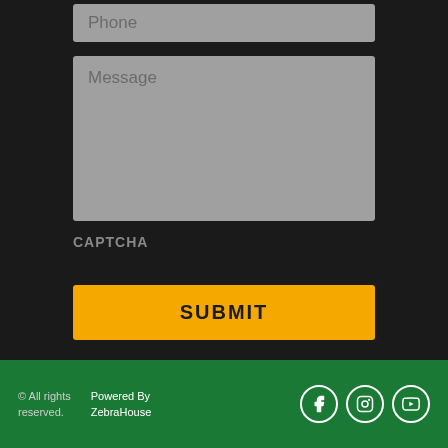Phone
Message
CAPTCHA
SUBMIT
© All rights reserved.   Powered By ZebraHouse